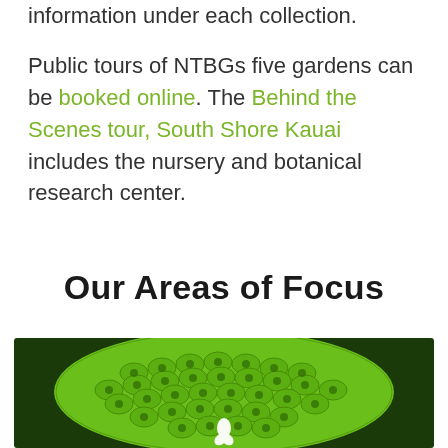information under each collection. Public tours of NTBGs five gardens can be booked online. The Behind the Scenes tour, South Shore Kauai includes the nursery and botanical research center.
Our Areas of Focus
[Figure (photo): Close-up photo of a bright green spiky tropical fruit or seed pod, with a white botanical logo/icon overlay at the bottom center, against a dark green leafy background.]